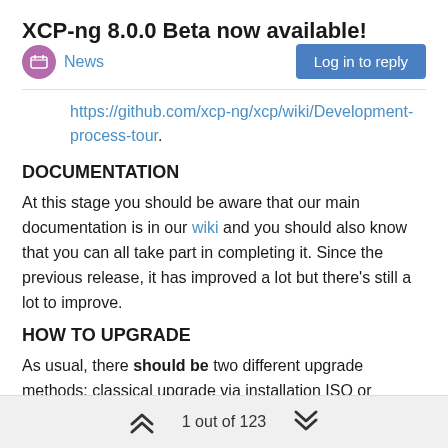XCP-ng 8.0.0 Beta now available!
News
https://github.com/xcp-ng/xcp/wiki/Development-process-tour.
DOCUMENTATION
At this stage you should be aware that our main documentation is in our wiki and you should also know that you can all take part in completing it. Since the previous release, it has improved a lot but there's still a lot to improve.
HOW TO UPGRADE
As usual, there should be two different upgrade methods: classical upgrade via installation ISO or upgrade using yum.
However, the yum-style update is not ready yet. Since this is a major release, Citrix does not support updating using an update ISO and there are no guarantees that the RPM packages can be...
1 out of 123